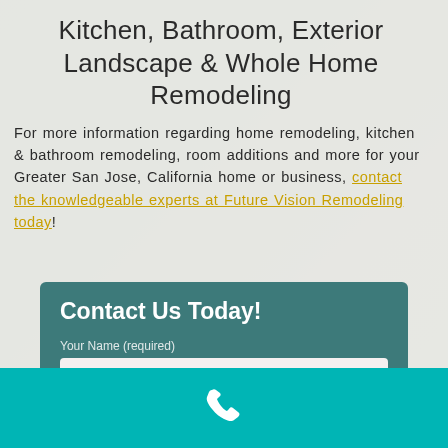Kitchen, Bathroom, Exterior Landscape & Whole Home Remodeling
For more information regarding home remodeling, kitchen & bathroom remodeling, room additions and more for your Greater San Jose, California home or business, contact the knowledgeable experts at Future Vision Remodeling today!
Contact Us Today!
Your Name (required)
[Figure (illustration): Phone/call icon in white on teal background bar at bottom of page]